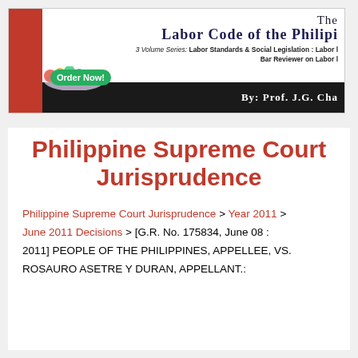[Figure (other): Banner for 'The Labor Code of the Philippines' book, 3 Volume Series, by Prof. J.G. Cha, with an 'Order Now!' button and colorful splash graphic.]
Philippine Supreme Court Jurisprudence
Philippine Supreme Court Jurisprudence > Year 2011 > June 2011 Decisions > [G.R. No. 175834, June 08 : 2011] PEOPLE OF THE PHILIPPINES, APPELLEE, VS. ROSAURO ASETRE Y DURAN, APPELLANT.: